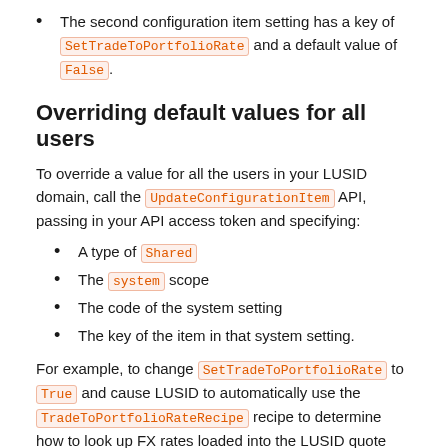The second configuration item setting has a key of SetTradeToPortfolioRate and a default value of False.
Overriding default values for all users
To override a value for all the users in your LUSID domain, call the UpdateConfigurationItem API, passing in your API access token and specifying:
A type of Shared
The system scope
The code of the system setting
The key of the item in that system setting.
For example, to change SetTradeToPortfolioRate to True and cause LUSID to automatically use the TradeToPortfolioRateRecipe recipe to determine how to look up FX rates loaded into the LUSID quote store:
[Figure (screenshot): Code box at bottom of page (partially visible)]